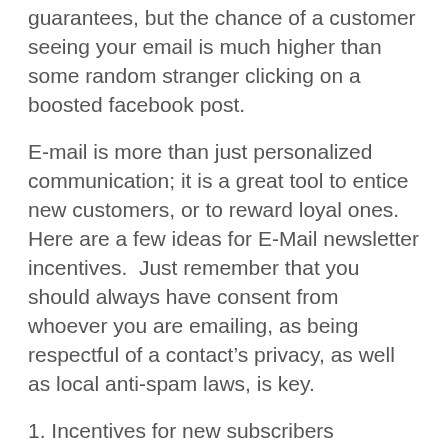guarantees, but the chance of a customer seeing your email is much higher than some random stranger clicking on a boosted facebook post.
E-mail is more than just personalized communication; it is a great tool to entice new customers, or to reward loyal ones.  Here are a few ideas for E-Mail newsletter incentives.  Just remember that you should always have consent from whoever you are emailing, as being respectful of a contact’s privacy, as well as local anti-spam laws, is key.
1. Incentives for new subscribers
This is an easy, automated and powerful sales tool.  We’ve all seen it, and likely all given in at some point: sign up for our newsletter and receive a FREE ebook!  This is a great way to